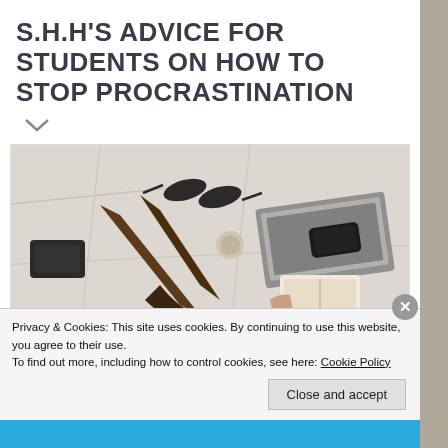S.H.H'S ADVICE FOR STUDENTS ON HOW TO STOP PROCRASTINATION
[Figure (photo): Overhead view of a person lying on a bed reading a book, surrounded by items including sunglasses, a laptop, a smartphone, and shoes on white sheets]
Privacy & Cookies: This site uses cookies. By continuing to use this website, you agree to their use.
To find out more, including how to control cookies, see here: Cookie Policy